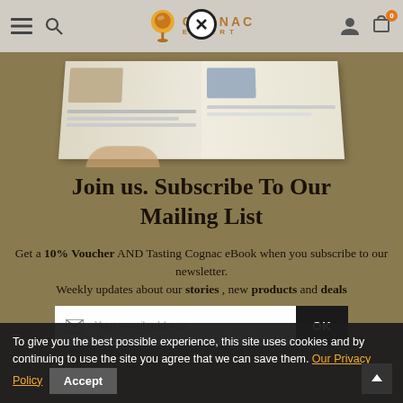Cognac Expert — navigation header with hamburger menu, search, logo, user icon, cart (0)
[Figure (photo): Person flipping through a magazine or book, open pages visible from above, on a warm tan/olive background]
Join us. Subscribe To Our Mailing List
Get a 10% Voucher AND Tasting Cognac eBook when you subscribe to our newsletter.
Weekly updates about our stories , new products and deals
Your email address  OK
To give you the best possible experience, this site uses cookies and by continuing to use the site you agree that we can save them. Our Privacy Policy  Accept